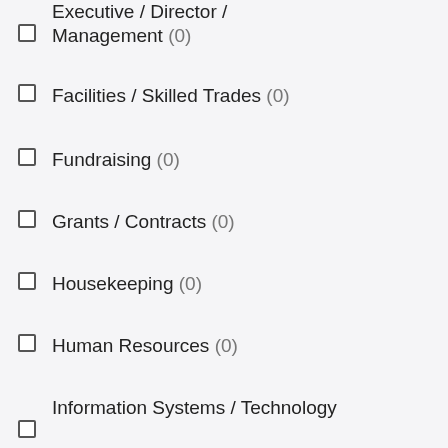Executive / Director / Management (0)
Facilities / Skilled Trades (0)
Fundraising (0)
Grants / Contracts (0)
Housekeeping (0)
Human Resources (0)
Information Systems / Technology (0)
Instructional / Teaching Faculty (0)
Law / Enforcement / Compliance